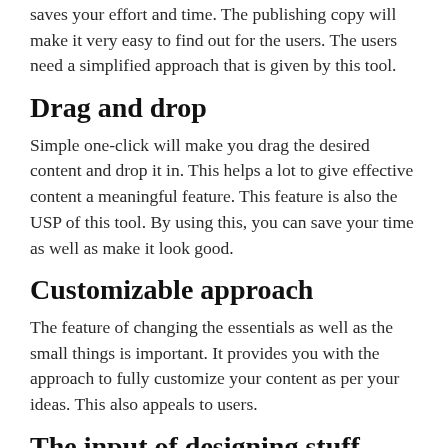saves your effort and time. The publishing copy will make it very easy to find out for the users. The users need a simplified approach that is given by this tool.
Drag and drop
Simple one-click will make you drag the desired content and drop it in. This helps a lot to give effective content a meaningful feature. This feature is also the USP of this tool. By using this, you can save your time as well as make it look good.
Customizable approach
The feature of changing the essentials as well as the small things is important. It provides you with the approach to fully customize your content as per your ideas. This also appeals to users.
The input of designing stuff